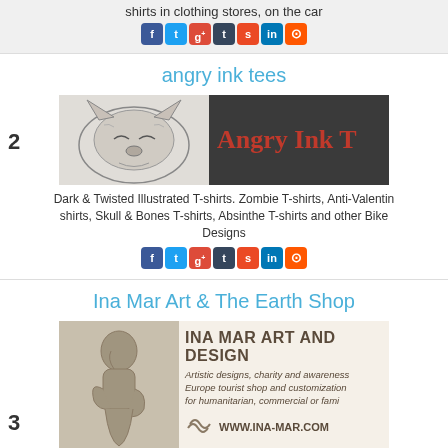shirts in clothing stores, on the car
[Figure (infographic): Social sharing icons: Facebook, Twitter, Google+, Tumblr, StumbleUpon, LinkedIn, Reddit]
angry ink tees
[Figure (photo): Banner for Angry Ink Tees: left side shows illustrated fox/creature sketch, right side shows red text 'Angry Ink T' on dark background]
Dark & Twisted Illustrated T-shirts. Zombie T-shirts, Anti-Valentins shirts, Skull & Bones T-shirts, Absinthe T-shirts and other Biker Designs
[Figure (infographic): Social sharing icons: Facebook, Twitter, Google+, Tumblr, StumbleUpon, LinkedIn, Reddit]
Ina Mar Art & The Earth Shop
[Figure (photo): Banner for Ina Mar Art and Design: left side shows a Rodin-style sculpture, right side shows 'INA MAR ART AND DESIGN' with description about artistic designs, charity, Europe tourist shop, and WWW.INA-MAR.COM]
Human rights, earth awareness and
Top Site List Chat